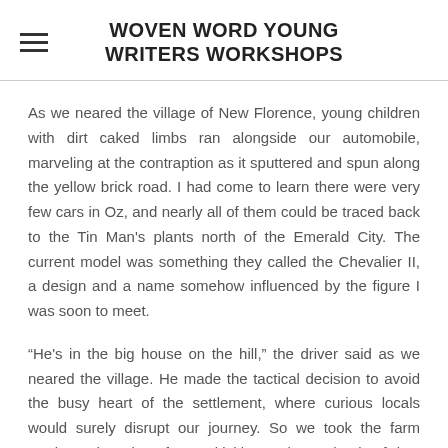WOVEN WORD YOUNG WRITERS WORKSHOPS
As we neared the village of New Florence, young children with dirt caked limbs ran alongside our automobile, marveling at the contraption as it sputtered and spun along the yellow brick road. I had come to learn there were very few cars in Oz, and nearly all of them could be traced back to the Tin Man's plants north of the Emerald City. The current model was something they called the Chevalier II, a design and a name somehow influenced by the figure I was soon to meet.
“He's in the big house on the hill,” the driver said as we neared the village. He made the tactical decision to avoid the busy heart of the settlement, where curious locals would surely disrupt our journey. So we took the farm roads on the edge of town, kicking up large clouds of dust in our wake. I could have been back home.